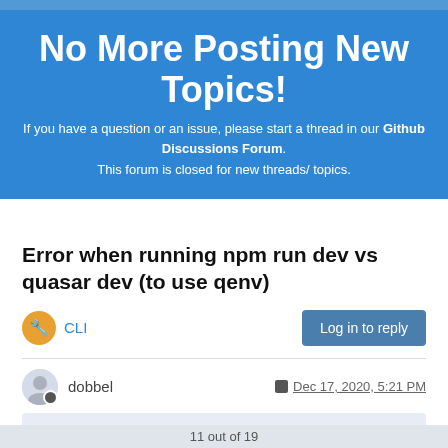No More Posting New Topics!
If you have a question or an issue, please start a thread in our Github Discussions Forum.
This forum is closed for new threads/ topics.
Error when running npm run dev vs quasar dev (to use qenv)
CLI   Log in to reply
dobbel   Dec 17, 2020, 5:21 PM
@GlutenBoy said in Error when running npm run dev vs quasar dev (to use qenv):